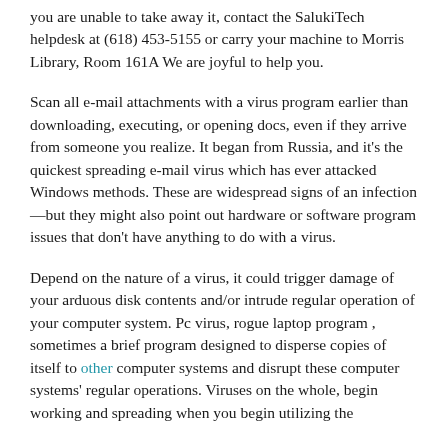you are unable to take away it, contact the SalukiTech helpdesk at (618) 453-5155 or carry your machine to Morris Library, Room 161A We are joyful to help you.
Scan all e-mail attachments with a virus program earlier than downloading, executing, or opening docs, even if they arrive from someone you realize. It began from Russia, and it's the quickest spreading e-mail virus which has ever attacked Windows methods. These are widespread signs of an infection—but they might also point out hardware or software program issues that don't have anything to do with a virus.
Depend on the nature of a virus, it could trigger damage of your arduous disk contents and/or intrude regular operation of your computer system. Pc virus, rogue laptop program , sometimes a brief program designed to disperse copies of itself to other computer systems and disrupt these computer systems' regular operations. Viruses on the whole, begin working and spreading when you begin utilizing the